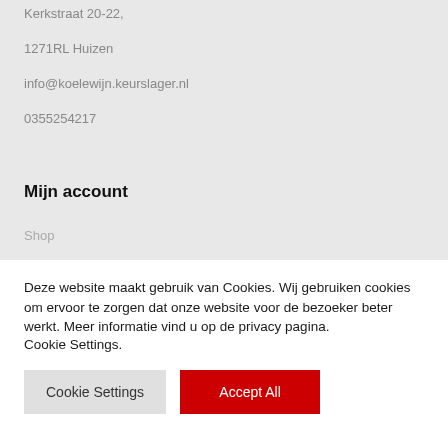Kerkstraat 20-22,
1271RL Huizen
info@koelewijn.keurslager.nl
0355254217
Mijn account
Shop
Deze website maakt gebruik van Cookies. Wij gebruiken cookies om ervoor te zorgen dat onze website voor de bezoeker beter werkt. Meer informatie vind u op de privacy pagina.
Cookie Settings.
Cookie Settings
Accept All